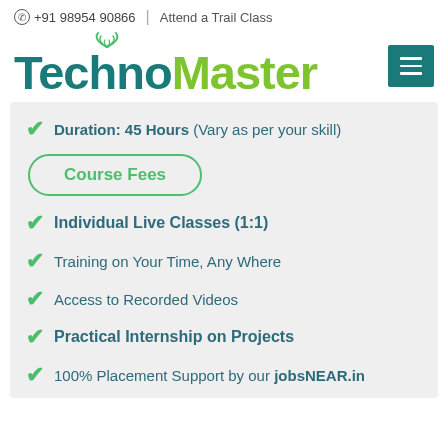☎ +91 98954 90866  |  Attend a Trail Class
[Figure (logo): TechnoMaster logo with wifi icon above, 'Techno' in teal and 'Master' in green]
Duration: 45 Hours (Vary as per your skill)
Course Fees
Individual Live Classes (1:1)
Training on Your Time, Any Where
Access to Recorded Videos
Practical Internship on Projects
100% Placement Support by our jobsNEAR.in